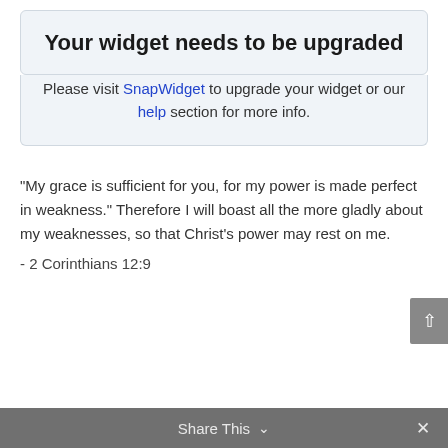Your widget needs to be upgraded
Please visit SnapWidget to upgrade your widget or our help section for more info.
“My grace is sufficient for you, for my power is made perfect in weakness.” Therefore I will boast all the more gladly about my weaknesses, so that Christ’s power may rest on me.
- 2 Corinthians 12:9
Share This ∨  ×